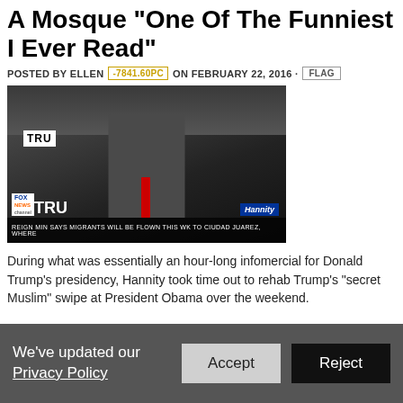A Mosque “One Of The Funniest I Ever Read”
POSTED BY ELLEN -7841.60PC ON FEBRUARY 22, 2016 · FLAG
[Figure (screenshot): Fox News Hannity broadcast screenshot showing a man in a suit with a red tie speaking in front of a crowd, with lower-third text reading 'REIGN MIN SAYS MIGRANTS WILL BE FLOWN THIS WK TO CIUDAD JUAREZ, WHERE']
During what was essentially an hour-long infomercial for Donald Trump’s presidency, Hannity took time out to rehab Trump’s “secret Muslim” swipe at President Obama over the weekend.
We’ve updated our Privacy Policy
Accept
Reject